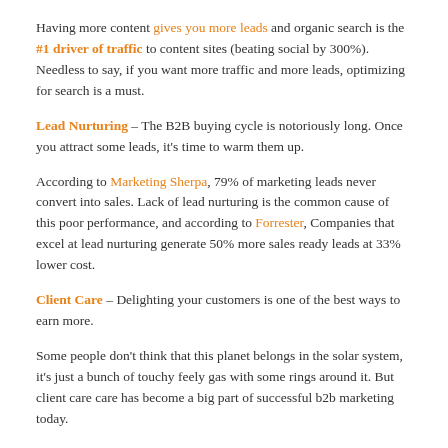Having more content gives you more leads and organic search is the #1 driver of traffic to content sites (beating social by 300%). Needless to say, if you want more traffic and more leads, optimizing for search is a must.
Lead Nurturing – The B2B buying cycle is notoriously long. Once you attract some leads, it's time to warm them up.
According to Marketing Sherpa, 79% of marketing leads never convert into sales. Lack of lead nurturing is the common cause of this poor performance, and according to Forrester, Companies that excel at lead nurturing generate 50% more sales ready leads at 33% lower cost.
Client Care – Delighting your customers is one of the best ways to earn more.
Some people don't think that this planet belongs in the solar system, it's just a bunch of touchy feely gas with some rings around it. But client care care has become a big part of successful b2b marketing today.
A 2% increase in customer retention has the same effect as